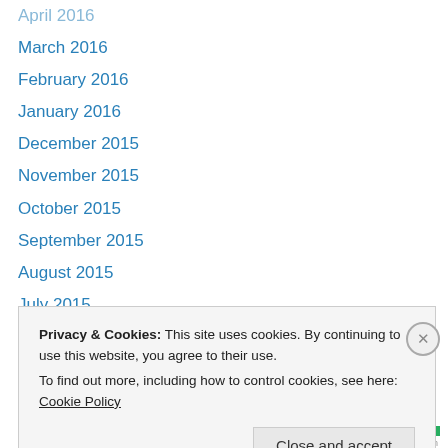April 2016
March 2016
February 2016
January 2016
December 2015
November 2015
October 2015
September 2015
August 2015
July 2015
June 2015
May 2015
April 2015
March 2015
Privacy & Cookies: This site uses cookies. By continuing to use this website, you agree to their use.
To find out more, including how to control cookies, see here: Cookie Policy
Close and accept